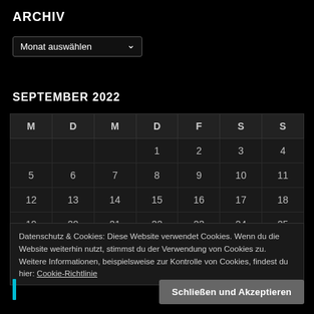ARCHIV
[Figure (other): Dropdown selector labeled 'Monat auswählen']
SEPTEMBER 2022
| M | D | M | D | F | S | S |
| --- | --- | --- | --- | --- | --- | --- |
|  |  |  | 1 | 2 | 3 | 4 |
| 5 | 6 | 7 | 8 | 9 | 10 | 11 |
| 12 | 13 | 14 | 15 | 16 | 17 | 18 |
| 19 | 20 | 21 | 22 | 23 | 24 | 25 |
Datenschutz & Cookies: Diese Website verwendet Cookies. Wenn du die Website weiterhin nutzt, stimmst du der Verwendung von Cookies zu. Weitere Informationen, beispielsweise zur Kontrolle von Cookies, findest du hier: Cookie-Richtlinie
Schließen und Akzeptieren